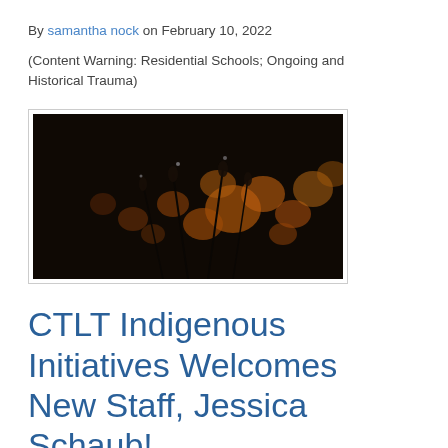By samantha nock on February 10, 2022
(Content Warning: Residential Schools; Ongoing and Historical Trauma)
[Figure (photo): Dark macro photograph showing amber and golden bokeh lights with dried plant silhouettes in the foreground against a black background]
CTLT Indigenous Initiatives Welcomes New Staff, Jessica Schaub!
By samantha nock on February 10, 2022